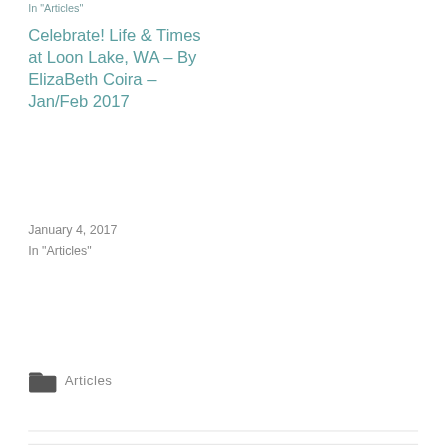In "Articles"
Celebrate! Life & Times at Loon Lake, WA – By ElizaBeth Coira – Jan/Feb 2017
January 4, 2017
In "Articles"
Articles
← EARTH ENCHANTMENT – By ElizaBeth Coira
Looking for a thoughtful gift for a New Grad or Dad??? →